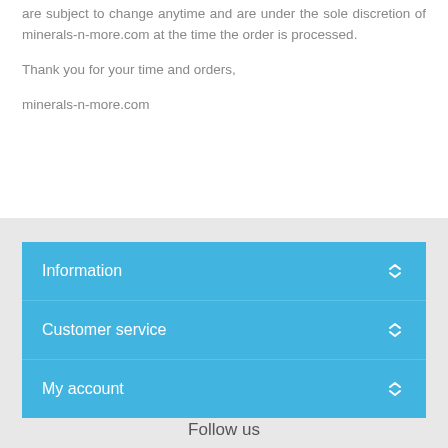are subject to change anytime and are under the sole discretion of minerals-n-more.com at the time the order is processed.
Thank you for your time and orders,
minerals-n-more.com
Information
Customer service
My account
Follow us